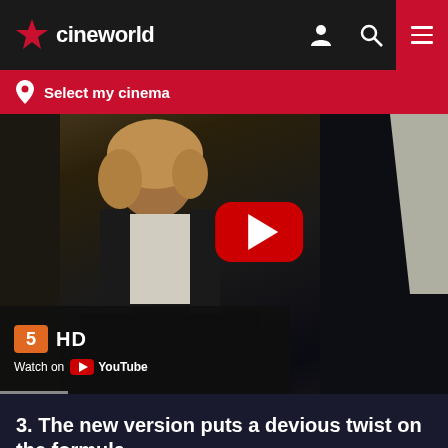cineworld
Select my cinema
[Figure (screenshot): YouTube video thumbnail showing a man with long blonde hair wearing a dark vest over a white shirt, with a YouTube play button overlay on the right side and a Channel 5 HD / Watch on YouTube overlay at the bottom left.]
3. The new version puts a devious twist on the formula
Directed by Leigh Whannell, actor and co-writer of Saw, the 2020